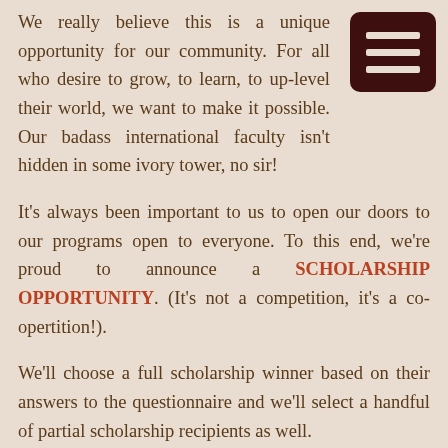We really believe this is a unique opportunity for our community. For all who desire to grow, to learn, to up-level their world, we want to make it possible. Our badass international faculty isn't hidden in some ivory tower, no sir!
It's always been important to us to open our doors to our programs open to everyone. To this end, we're proud to announce a SCHOLARSHIP OPPORTUNITY. (It's not a competition, it's a co-opertition!).
We'll choose a full scholarship winner based on their answers to the questionnaire and we'll select a handful of partial scholarship recipients as well.
This next to last line application period will